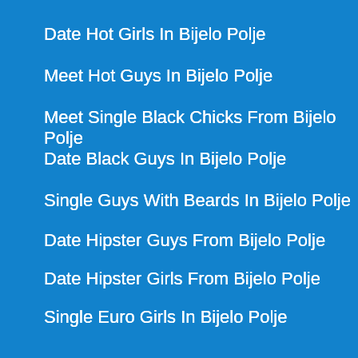Date Hot Girls In Bijelo Polje
Meet Hot Guys In Bijelo Polje
Meet Single Black Chicks From Bijelo Polje
Date Black Guys In Bijelo Polje
Single Guys With Beards In Bijelo Polje
Date Hipster Guys From Bijelo Polje
Date Hipster Girls From Bijelo Polje
Single Euro Girls In Bijelo Polje
Date Cops From Bijelo Polje
Date Latinas From Bijelo Polje